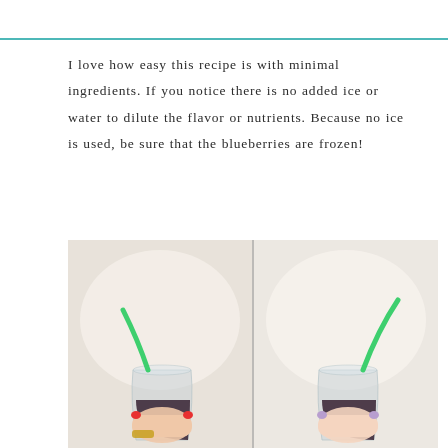I love how easy this recipe is with minimal ingredients. If you notice there is no added ice or water to dilute the flavor or nutrients. Because no ice is used, be sure that the blueberries are frozen!
[Figure (photo): Two hands each holding a clear stemless wine glass filled with dark purple blueberry smoothie, each with a bright green flexible straw. The left hand has red nail polish and a gold bracelet; the right hand has light purple nail polish. The two photos are placed side by side.]